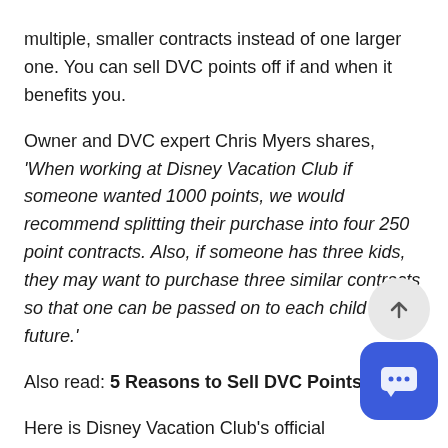multiple, smaller contracts instead of one larger one. You can sell DVC points off if and when it benefits you.
Owner and DVC expert Chris Myers shares, 'When working at Disney Vacation Club if someone wanted 1000 points, we would recommend splitting their purchase into four 250 point contracts. Also, if someone has three kids, they may want to purchase three similar contracts so that one can be passed on to each child in the future.'
Also read: 5 Reasons to Sell DVC Points Now
Here is Disney Vacation Club's official